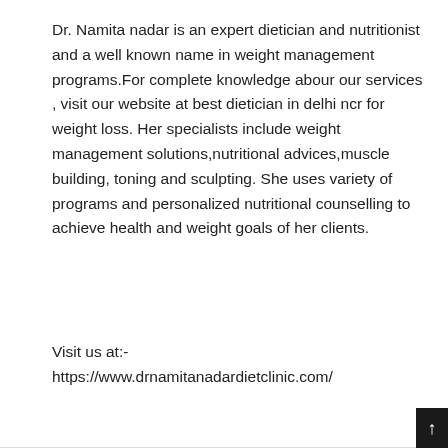Dr. Namita nadar is an expert dietician and nutritionist and a well known name in weight management programs.For complete knowledge abour our services , visit our website at best dietician in delhi ncr for weight loss. Her specialists include weight management solutions,nutritional advices,muscle building, toning and sculpting. She uses variety of programs and personalized nutritional counselling to achieve health and weight goals of her clients.
Visit us at:-
https://www.drnamitanadardietclinic.com/
Realtorsophia
25 JUNE 2021 AT 03:44